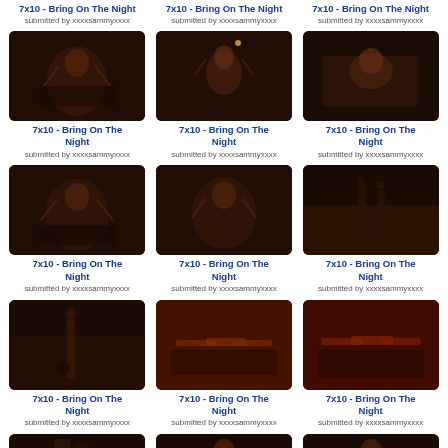[Figure (photo): Top partial row - three TV episode thumbnails partially visible, titles and submitter info showing]
7x10 - Bring On The Night
submitted by xxxxsammyxxxx
7x10 - Bring On The Night
submitted by xxxxsammyxxxx
7x10 - Bring On The Night
submitted by xxxxsammyxxxx
[Figure (photo): Dark scene with woman in black tank top with arms raised]
[Figure (photo): Dark scene woman with arms raised behind head, candle visible]
[Figure (photo): Dark scene person lying down, shirtless]
7x10 - Bring On The Night
submitted by xxxxsammyxxxx
7x10 - Bring On The Night
submitted by xxxxsammyxxxx
7x10 - Bring On The Night
submitted by xxxxsammyxxxx
[Figure (photo): Dark scene woman with arms behind head]
[Figure (photo): Dark scene woman with arms stretched]
[Figure (photo): Dark outdoor scene with figures]
7x10 - Bring On The Night
submitted by xxxxsammyxxxx
7x10 - Bring On The Night
submitted by xxxxsammyxxxx
7x10 - Bring On The Night
submitted by xxxxsammyxxxx
[Figure (photo): Dark scene with single figure standing]
[Figure (photo): Close-up hands on dark red surface]
[Figure (photo): Close-up hands on dark red surface]
7x10 - Bring On The Night
submitted by xxxxsammyxxxx
7x10 - Bring On The Night
submitted by xxxxsammyxxxx
7x10 - Bring On The Night
submitted by xxxxsammyxxxx
[Figure (photo): Bottom partial row - three thumbnail images partially visible]